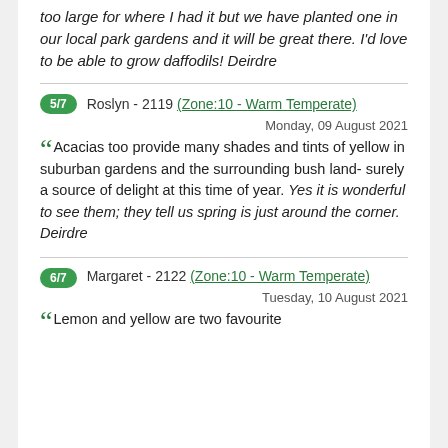too large for where I had it but we have planted one in our local park gardens and it will be great there. I'd love to be able to grow daffodils! Deirdre
5/7  Roslyn - 2119 (Zone:10 - Warm Temperate)
Monday, 09 August 2021
Acacias too provide many shades and tints of yellow in suburban gardens and the surrounding bush land- surely a source of delight at this time of year. Yes it is wonderful to see them; they tell us spring is just around the corner. Deirdre
6/7  Margaret - 2122 (Zone:10 - Warm Temperate)
Tuesday, 10 August 2021
Lemon and yellow are two favourite